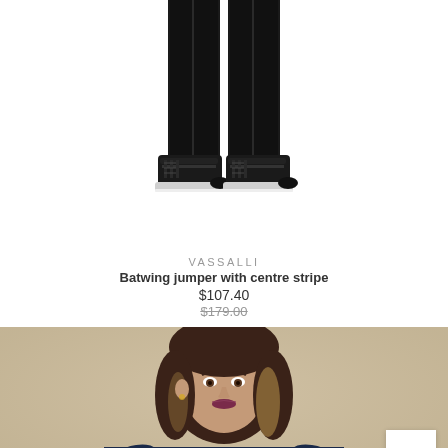[Figure (photo): Cropped image of black pants and black leather high-top sneakers on white background]
VASSALLI
Batwing jumper with centre stripe
$107.40
$179.00
[Figure (photo): Photo of a woman with shoulder-length brunette hair wearing a navy blue long-sleeve top, against a beige/tan background]